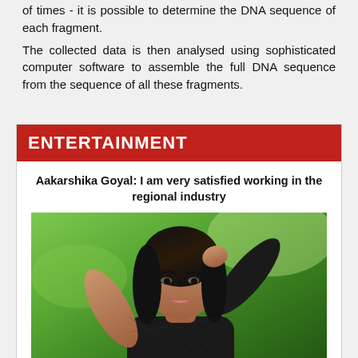of times - it is possible to determine the DNA sequence of each fragment.
The collected data is then analysed using sophisticated computer software to assemble the full DNA sequence from the sequence of all these fragments.
ENTERTAINMENT
Aakarshika Goyal: I am very satisfied working in the regional industry
[Figure (photo): Portrait photo of Aakarshika Goyal, a young woman with long dark hair, wearing a black mesh/net top, posing with one hand raised near her head, with green foliage in the background.]